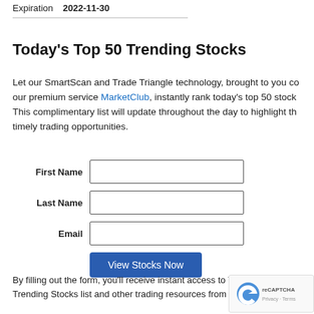|  |  |
| --- | --- |
| Expiration | 2022-11-30 |
Today's Top 50 Trending Stocks
Let our SmartScan and Trade Triangle technology, brought to you courtesy of our premium service MarketClub, instantly rank today's top 50 stocks. This complimentary list will update throughout the day to highlight the most timely trading opportunities.
First Name [input] Last Name [input] Email [input] View Stocks Now [button]
By filling out the form, you'll receive instant access to Today's Top 50 Trending Stocks list and other trading resources from IN...
[Figure (other): reCAPTCHA badge with logo and Privacy · Terms links]